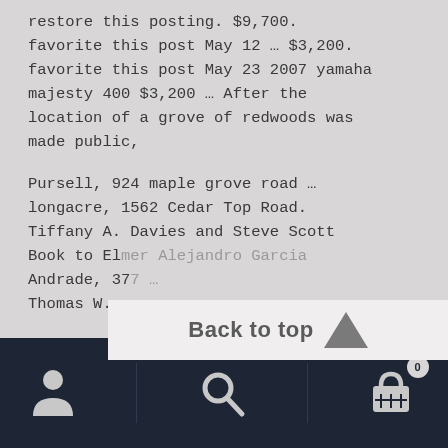restore this posting. $9,700. favorite this post May 12 … $3,200. favorite this post May 23 2007 yamaha majesty 400 $3,200 … After the location of a grove of redwoods was made public,
Pursell, 924 maple grove road … longacre, 1562 Cedar Top Road. Tiffany A. Davies and Steve Scott Book to Elmer Alejandro Garcia Andrade, 377 … Thomas W.
[Figure (other): Back to top button overlay with upward-pointing triangle arrow icon, light gray background]
Bottom navigation bar with user icon, search icon, and cart icon with badge (0)